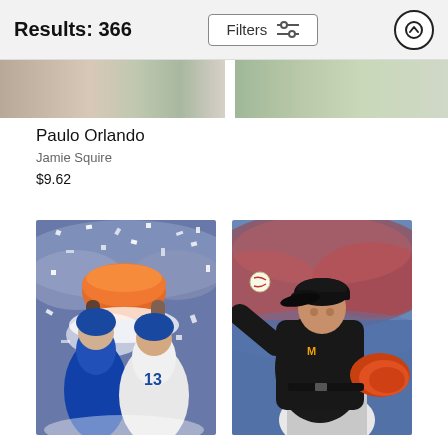Results: 366   Filters   ↑
[Figure (photo): Partial cropped strip of two baseball photos at the top of the results grid]
Paulo Orlando
Jamie Squire
$9.62
[Figure (photo): Baseball celebration photo — player being doused with water/ice from orange Gatorade cooler, confetti, crowd in background, Kansas City Royals uniform]
[Figure (photo): Miami Marlins pitcher in black uniform throwing pitch, orange glove, ball visible mid-air, crowd in background]